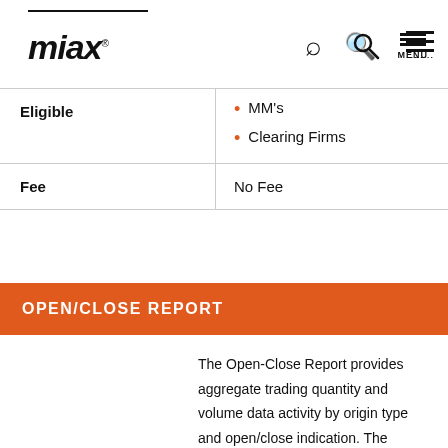miax
| Eligible | MM's, Clearing Firms |
| --- | --- |
| Eligible | MM's
Clearing Firms |
| Fee | No Fee |
OPEN/CLOSE REPORT
The Open-Close Report provides aggregate trading quantity and volume data activity by origin type and open/close indication. The reports for each exchange are generated in two versions, an Intra-day version and an End-of-Day (EOD) version and allow recipients